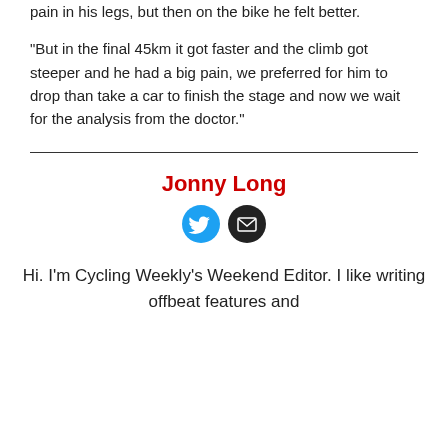pain in his legs, but then on the bike he felt better.
"But in the final 45km it got faster and the climb got steeper and he had a big pain, we preferred for him to drop than take a car to finish the stage and now we wait for the analysis from the doctor."
Jonny Long
[Figure (illustration): Twitter and email social media icon circles for Jonny Long]
Hi. I'm Cycling Weekly's Weekend Editor. I like writing offbeat features and